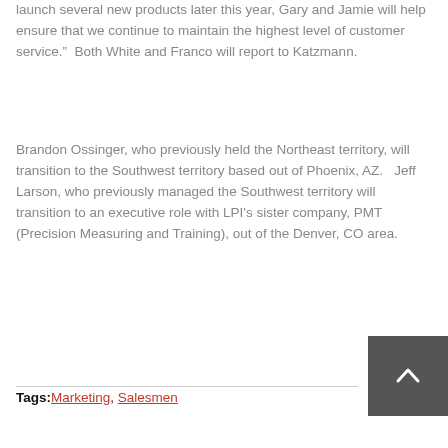launch several new products later this year, Gary and Jamie will help ensure that we continue to maintain the highest level of customer service."  Both White and Franco will report to Katzmann.
Brandon Ossinger, who previously held the Northeast territory, will transition to the Southwest territory based out of Phoenix, AZ.   Jeff Larson, who previously managed the Southwest territory will transition to an executive role with LPI's sister company, PMT (Precision Measuring and Training), out of the Denver, CO area.
Tags: Marketing, Salesmen